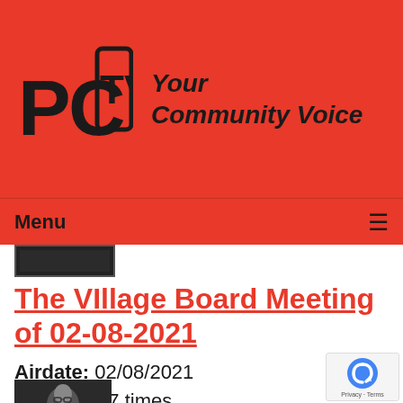[Figure (logo): PCTV logo with text 'Your Community Voice' on red background]
Menu ≡
[Figure (screenshot): Small video thumbnail preview strip]
The VIllage Board Meeting of 02-08-2021
Airdate: 02/08/2021
Watched: 7 times
[Figure (photo): Small thumbnail photo of a person wearing glasses]